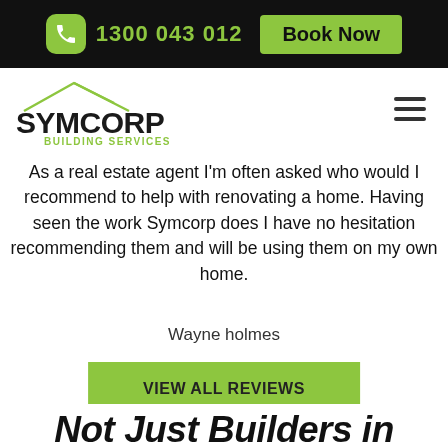1300 043 012  Book Now
[Figure (logo): Symcorp Building Services logo with roof/house outline above bold SYMCORP text and green BUILDING SERVICES subtitle]
As a real estate agent I'm often asked who would I recommend to help with renovating a home. Having seen the work Symcorp does I have no hesitation recommending them and will be using them on my own home.
Wayne holmes
VIEW ALL REVIEWS
Not Just Builders in